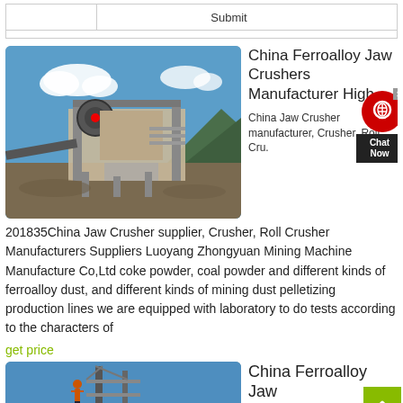Submit
[Figure (photo): Industrial jaw crusher machine outdoors at a mining site with mountains and blue sky in background]
China Ferroalloy Jaw Crushers Manufacturer High
China Jaw Crusher manufacturer, Crusher, Roll Cru.
201835China Jaw Crusher supplier, Crusher, Roll Crusher Manufacturers Suppliers Luoyang Zhongyuan Mining Machine Manufacture Co,Ltd coke powder, coal powder and different kinds of ferroalloy dust, and different kinds of mining dust pelletizing production lines we are equipped with laboratory to do tests according to the characters of
get price
[Figure (photo): Industrial structure or tower against a blue sky, second product listing image]
China Ferroalloy Jaw